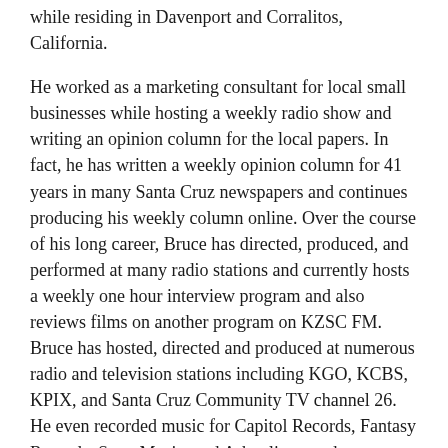while residing in Davenport and Corralitos, California.
He worked as a marketing consultant for local small businesses while hosting a weekly radio show and writing an opinion column for the local papers. In fact, he has written a weekly opinion column for 41 years in many Santa Cruz newspapers and continues producing his weekly column online. Over the course of his long career, Bruce has directed, produced, and performed at many radio stations and currently hosts a weekly one hour interview program and also reviews films on another program on KZSC FM. Bruce has hosted, directed and produced at numerous radio and television stations including KGO, KCBS, KPIX, and Santa Cruz Community TV channel 26. He even recorded music for Capitol Records, Fantasy Records, Sony Music, and Arhoolie records.